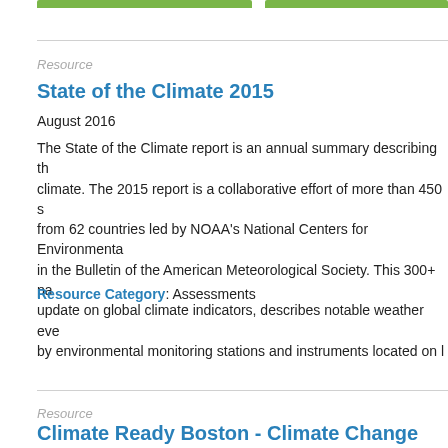Resource
State of the Climate 2015
August 2016
The State of the Climate report is an annual summary describing the climate. The 2015 report is a collaborative effort of more than 450 scientists from 62 countries led by NOAA's National Centers for Environmental in the Bulletin of the American Meteorological Society. This 300+ page update on global climate indicators, describes notable weather events by environmental monitoring stations and instruments located on land.
Resource Category: Assessments
SEE RESOURCE
LOGIN TO ADD TO MY
Resource
Climate Ready Boston - Climate Change Sea Level Rise Projections for Boston